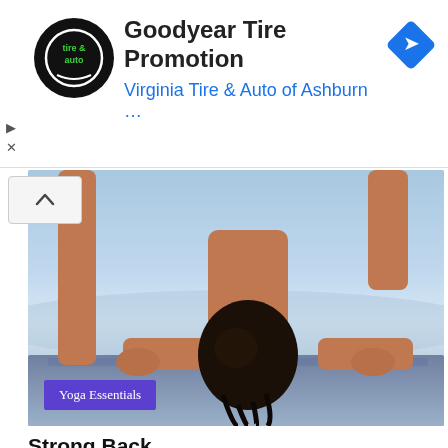[Figure (infographic): Goodyear Tire Promotion advertisement banner with Virginia Tire & Auto of Ashburn logo, title text, and blue navigation arrow icon. Two small ad control buttons (play and close) on the left side.]
[Figure (photo): A person performing a yoga pose (downward-facing position with head down and hair hanging, hands and feet on a mat/beach surface) outdoors near water. A 'Yoga Essentials' purple label is overlaid in the bottom left of the image.]
Strong Back
Yoga Basics: Yoga Pose for a Strong Back (Locust Pose) The Salabhasana or otherwise known as the locust pose serves a lot of